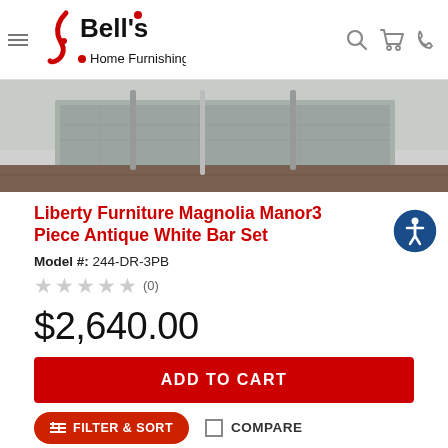[Figure (logo): Bell's Home Furnishings logo with red stylized figure and black bold text]
[Figure (photo): Product photo showing a rug on a hardwood floor with furniture legs visible]
Liberty Furniture Magnolia Manor3 Piece Antique White Bar Set
Model #: 244-DR-3PB
★★★★★ (0)
$2,640.00
ADD TO CART
FILTER & SORT
COMPARE